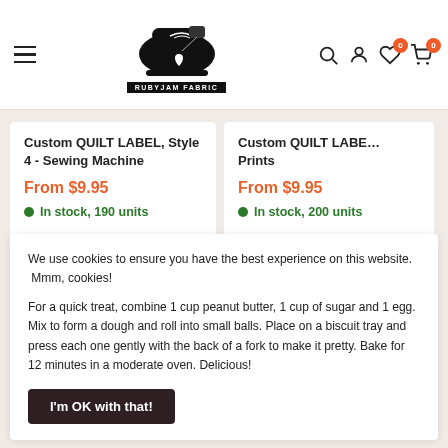RubyJam Fabric - navigation header with hamburger menu, logo, search, account, wishlist (0), cart (0)
Custom QUILT LABEL, Style 4 - Sewing Machine
From $9.95
In stock, 190 units
Custom QUILT LABEL - Prints
From $9.95
In stock, 200 units
We use cookies to ensure you have the best experience on this website.  Mmm, cookies!

For a quick treat, combine 1 cup peanut butter, 1 cup of sugar and 1 egg. Mix to form a dough and roll into small balls. Place on a biscuit tray and press each one gently with the back of a fork to make it pretty. Bake for 12 minutes in a moderate oven. Delicious!

I'm OK with that!